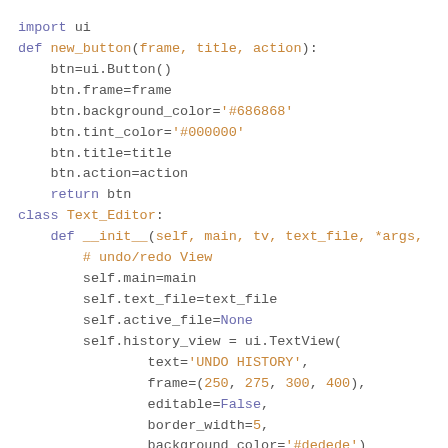import ui

def new_button(frame, title, action):
    btn=ui.Button()
    btn.frame=frame
    btn.background_color='#686868'
    btn.tint_color='#000000'
    btn.title=title
    btn.action=action
    return btn

class Text_Editor:
    def __init__(self, main, tv, text_file, *args,
        # undo/redo View
        self.main=main
        self.text_file=text_file
        self.active_file=None
        self.history_view = ui.TextView(
                text='UNDO HISTORY',
                frame=(250, 275, 300, 400),
                editable=False,
                border_width=5,
                background_color='#dedede')